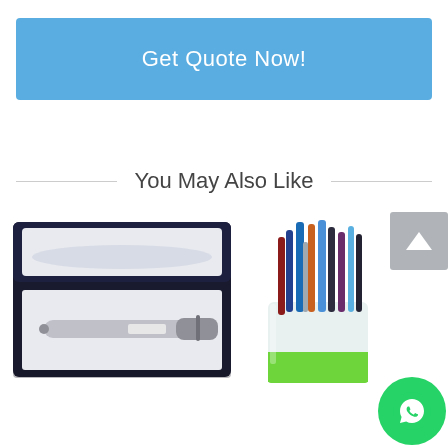Get Quote Now!
You May Also Like
[Figure (photo): A silver/chrome pen inside an open black gift box with white satin lining]
[Figure (photo): A white and green cylindrical pen holder cup containing multiple pens and markers of various colors]